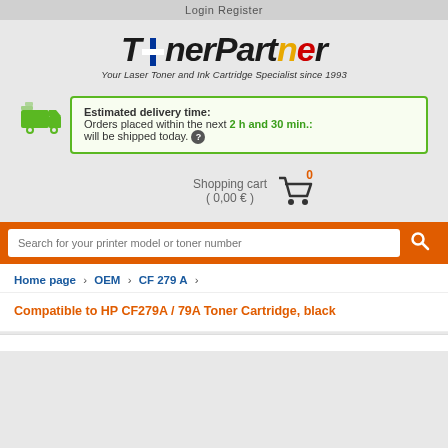Login   Register
[Figure (logo): TonerPartner logo with colorful letters and Finnish flag cross, tagline: Your Laser Toner and Ink Cartridge Specialist since 1993]
Estimated delivery time: Orders placed within the next 2 h and 30 min.: will be shipped today. ?
Shopping cart 0 ( 0,00 € )
Search for your printer model or toner number
Home page › OEM › CF 279 A ›
Compatible to HP CF279A / 79A Toner Cartridge, black